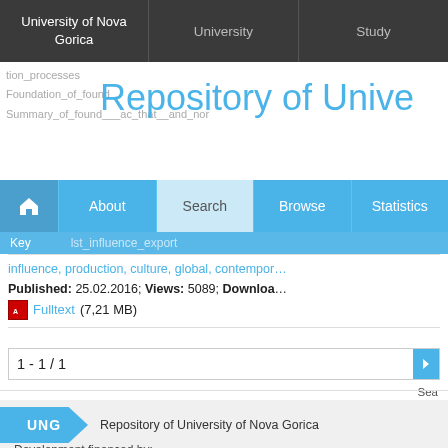University of Nova Gorica | University | Study
Repository of University of Nova Gorica
Home | About | Search | Browse | Statistics
influence, production, culture, global, contempor…
Published: 25.02.2016; Views: 5089; Downloads:…
Fulltext (7,21 MB)
1 - 1 / 1
Back to top
UNG | Repository of University of Nova Gorica
Development financed by: